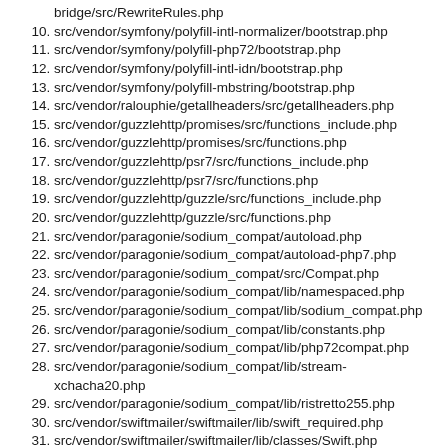bridge/src/RewriteRules.php (partial, cut off at top)
10. src/vendor/symfony/polyfill-intl-normalizer/bootstrap.php
11. src/vendor/symfony/polyfill-php72/bootstrap.php
12. src/vendor/symfony/polyfill-intl-idn/bootstrap.php
13. src/vendor/symfony/polyfill-mbstring/bootstrap.php
14. src/vendor/ralouphie/getallheaders/src/getallheaders.php
15. src/vendor/guzzlehttp/promises/src/functions_include.php
16. src/vendor/guzzlehttp/promises/src/functions.php
17. src/vendor/guzzlehttp/psr7/src/functions_include.php
18. src/vendor/guzzlehttp/psr7/src/functions.php
19. src/vendor/guzzlehttp/guzzle/src/functions_include.php
20. src/vendor/guzzlehttp/guzzle/src/functions.php
21. src/vendor/paragonie/sodium_compat/autoload.php
22. src/vendor/paragonie/sodium_compat/autoload-php7.php
23. src/vendor/paragonie/sodium_compat/src/Compat.php
24. src/vendor/paragonie/sodium_compat/lib/namespaced.php
25. src/vendor/paragonie/sodium_compat/lib/sodium_compat.php
26. src/vendor/paragonie/sodium_compat/lib/constants.php
27. src/vendor/paragonie/sodium_compat/lib/php72compat.php
28. src/vendor/paragonie/sodium_compat/lib/stream-xchacha20.php
29. src/vendor/paragonie/sodium_compat/lib/ristretto255.php
30. src/vendor/swiftmailer/swiftmailer/lib/swift_required.php
31. src/vendor/swiftmailer/swiftmailer/lib/classes/Swift.php
32. src/vendor/symfony/var-dumper/Resources/functions/dump.php (partial, cut off at bottom)